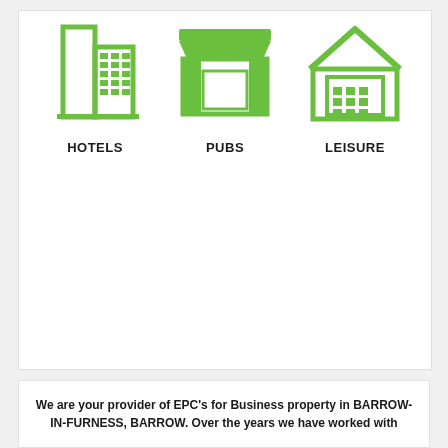[Figure (illustration): Green hotel building icon with grid-pattern windows]
HOTELS
[Figure (illustration): Green pub/shop storefront icon with awning]
PUBS
[Figure (illustration): Green leisure/garage building icon with grid door]
LEISURE
We are your provider of EPC's for Business property in BARROW-IN-FURNESS, BARROW. Over the years we have worked with